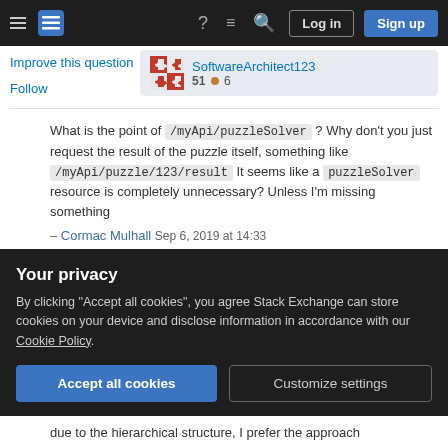Stack Exchange navigation bar with Log in and Sign up buttons
Improve this question
Follow
SoftwareArchitect123
51 6
What is the point of /myApi/puzzleSolver ? Why don't you just request the result of the puzzle itself, something like /myApi/puzzle/123/result It seems like a puzzleSolver resource is completely unnecessary? Unless I'm missing something – Cormac Mulhall Sep 6, 2019 at 14:33
@CormacMulhall: I considered this approach in the beginning, but this would create an unpleasant
Your privacy
By clicking "Accept all cookies", you agree Stack Exchange can store cookies on your device and disclose information in accordance with our Cookie Policy.
Accept all cookies  Customize settings
due to the hierarchical structure, I prefer the approach